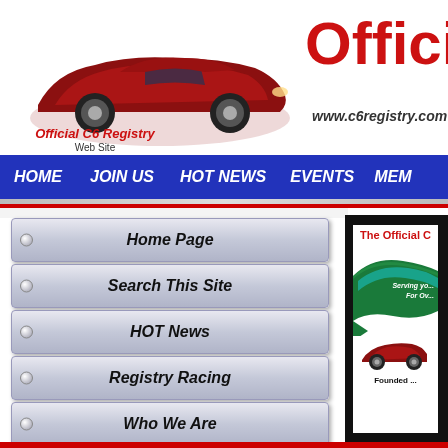[Figure (screenshot): Official C6 Registry website header with red Corvette car photo, logo text 'Official C6 Registry Web Site', URL www.c6registry.com, and large red text 'Official C' cropped]
Official C6 Registry Web Site | www.c6registry.com
[Figure (screenshot): Blue navigation bar with white bold italic menu items: HOME, JOIN US, HOT NEWS, EVENTS, MEM(BERS cropped)]
Home Page
Search This Site
HOT News
Registry Racing
Who We Are
Join Us
[Figure (screenshot): Banner image with black background showing 'The Official C' (cropped) in red text, green ribbon banner, red Corvette car, and text 'Serving yo... For Ov... Founded ...' (cropped)]